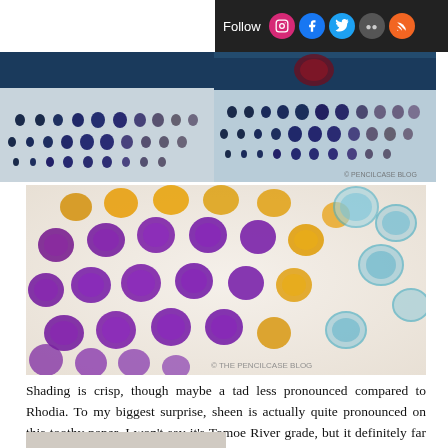[Figure (screenshot): Dark top navigation bar with 'Follow' text and social media icons: Instagram, Facebook, Twitter, Flickr, RSS]
[Figure (photo): Close-up photo of ink dots/spots in dark blue and purple tones on dotted paper — watercolor-like dots in rows, copyright pencilcase blog]
[Figure (photo): Close-up macro photo of colorful ink dots on dotted paper — purple, yellow/orange, and teal/cyan dots with visible sheen and feathering, copyright THE PENCILCASE BLOG]
Shading is crisp, though maybe a tad less pronounced compared to Rhodia. To my biggest surprise, sheen is actually quite pronounced on this toothy paper. I won't say it's Tomoe River grade, but it definitely far exceeds my expectations.
[Figure (photo): Partially visible photo at bottom of page cut off]